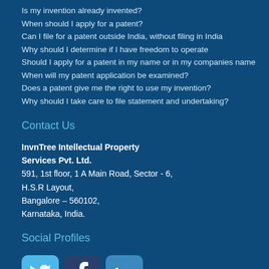Is my invention already invented?
When should I apply for a patent?
Can I file for a patent outside India, without filing in India
Why should I determine if I have freedom to operate
Should I apply for a patent in my name or in my companies name
When will my patent application be examined?
Does a patent give me the right to use my invention?
Why should I take care to file statement and undertaking?
Contact Us
InvnTree Intellectual Property Services Pvt. Ltd.
591, 1st floor, 1 A Main Road, Sector - 6,
H.S.R Layout,
Bangalore – 560102,
Karnataka, India.
Social Profiles
[Figure (infographic): Social media icons: Twitter (bird logo), Facebook (f logo), LinkedIn (in logo)]